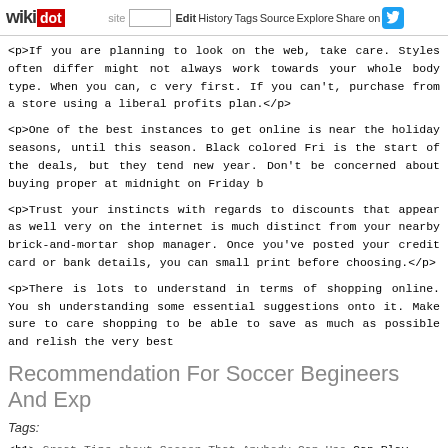wikidot | site | Edit | History | Tags | Source | Explore | Share on [Twitter]
<p>If you are planning to look on the web, take care. Styles often differ might not always work towards your whole body type. When you can, c very first. If you can't, purchase from a store using a liberal profits plan.</p>
<p>One of the best instances to get online is near the holiday seasons, until this season. Black colored Fri is the start of the deals, but they tend new year. Don't be concerned about buying proper at midnight on Friday b</p>
<p>Trust your instincts with regards to discounts that appear as well very on the internet is much distinct from your nearby brick-and-mortar shop manager. Once you've posted your credit card or bank details, you can small print before choosing.</p>
<p>There is lots to understand in terms of shopping online. You sh understanding some essential suggestions onto it. Make sure to care shopping to be able to save as much as possible and relish the very best</p>
Recommendation For Soccer Begineers And Exp
Tags:
<h1> Great Tips about Soccer That Anybody Can Use Can Play Soccer W
<p>If you wish to develop into good at soccer and be just like the pro's th Ever wonder how these skilled's get those nice skills with their toes? thinking a couple of profession in soccer then grab a ball and get to work to that can make you a greater soccer player.</p>
<p>Do not hesitate to ask for the ball if you're feeling like you are in a s